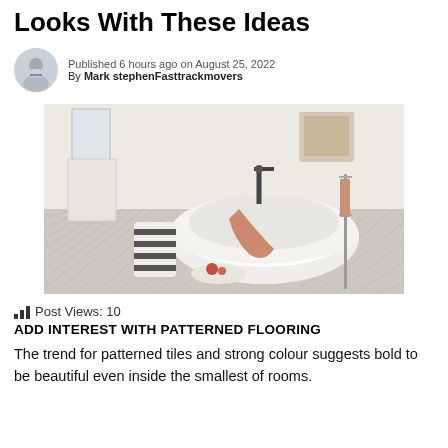Looks With These Ideas
Published 6 hours ago on August 25, 2022
By Mark stephenFasttrackmovers
[Figure (photo): Interior bathroom photo showing a freestanding white bathtub on herringbone vinyl flooring, with a striped laundry basket, draped terracotta towel, and a towel rail in the background.]
Post Views: 10
ADD INTEREST WITH PATTERNED FLOORING
The trend for patterned tiles and strong colour suggests bold to be beautiful even inside the smallest of rooms.